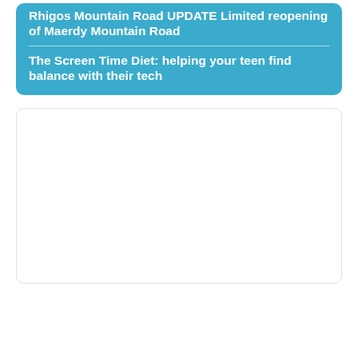Rhigos Mountain Road UPDATE Limited reopening of Maerdy Mountain Road
The Screen Time Diet: helping your teen find balance with their tech
[Figure (other): White rounded rectangle box, empty content area]